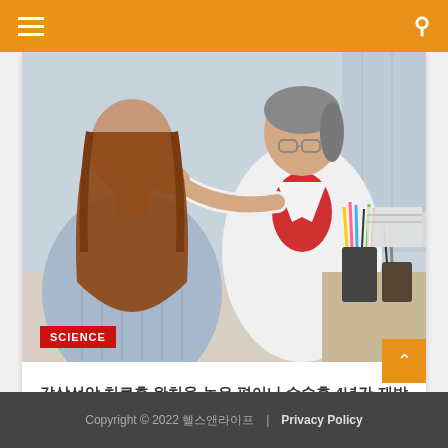Navigation bar with menu and search icons
[Figure (photo): A female doctor in a white lab coat and red turtleneck examining a young female patient's neck/throat in a medical office setting. Desk with pencil holders and supplies visible in background.]
SCIENCE
갑상선암 치료후 완치율 높은 편이나 수술후 4년간 재발여부 확인해야합니다.
9월 1, 2022 / Gal Dong-Yul
Copyright © 2022 헬스앤라이프 | Privacy Policy